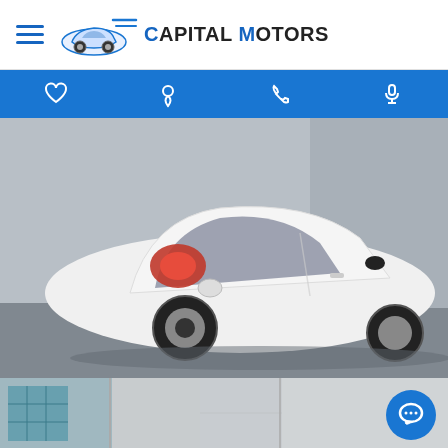Capital Motors
[Figure (photo): Navigation bar with heart, location pin, phone, and microphone icons on a blue background]
[Figure (photo): Rear three-quarter view of a white Toyota Yaris hatchback parked on a gray surface with a wall in the background]
[Figure (photo): Two partial photos at the bottom: left shows a building exterior with teal grid windows, right shows a plain concrete wall]